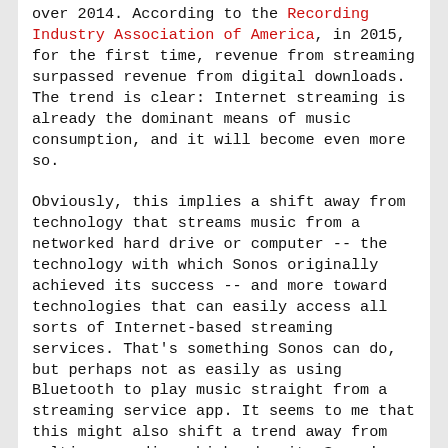over 2014. According to the Recording Industry Association of America, in 2015, for the first time, revenue from streaming surpassed revenue from digital downloads. The trend is clear: Internet streaming is already the dominant means of music consumption, and it will become even more so.
Obviously, this implies a shift away from technology that streams music from a networked hard drive or computer -- the technology with which Sonos originally achieved its success -- and more toward technologies that can easily access all sorts of Internet-based streaming services. That's something Sonos can do, but perhaps not as easily as using Bluetooth to play music straight from a streaming service app. It seems to me that this might also shift a trend away from multiroom audio, which, despite Sonos's success, remains a small part of the audio market. According to SAR Insight and Consulting, about 80 million Bluetooth-equipped speakers were shipped in 2015, while projected sales for Wi-Fi-equipped home audio products are 130 million units for the entire decade